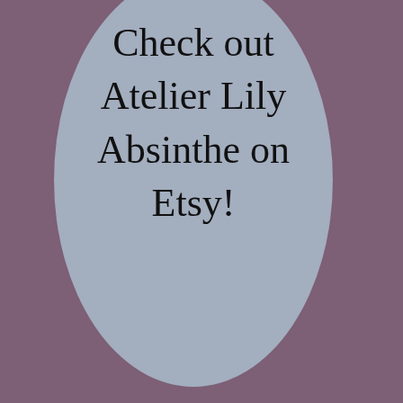[Figure (illustration): Rounded speech bubble shape with light steel blue background on a muted purple/mauve background containing promotional text for Etsy shop]
Check out Atelier Lily Absinthe on Etsy!
Support Atelier Lily Absinthe on Patreon!
[Figure (logo): Patreon orange button with circle icon and text BECOME A PATRON]
[Figure (screenshot): WordPress.com advertisement banner: Simplified pricing for everything you need.]